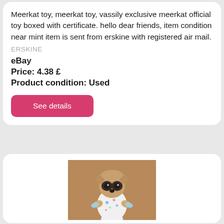Meerkat toy, meerkat toy, vassily exclusive meerkat official toy boxed with certificate. hello dear friends, item condition near mint item is sent from erskine with registered air mail.
ERSKINE
eBay
Price: 4.38 £
Product condition: Used
See details
[Figure (photo): A small meerkat stuffed toy wearing a white pajama onesie with colorful print, standing upright on what appears to be a wooden surface.]